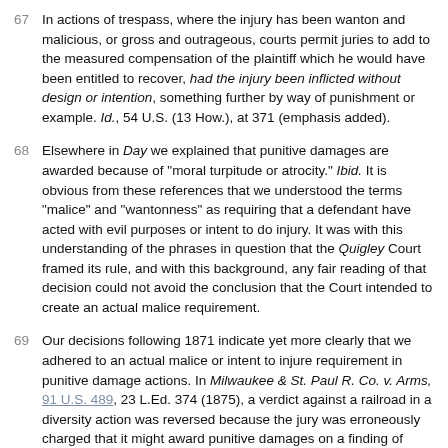67 In actions of trespass, where the injury has been wanton and malicious, or gross and outrageous, courts permit juries to add to the measured compensation of the plaintiff which he would have been entitled to recover, had the injury been inflicted without design or intention, something further by way of punishment or example. Id., 54 U.S. (13 How.), at 371 (emphasis added).
68 Elsewhere in Day we explained that punitive damages are awarded because of "moral turpitude or atrocity." Ibid. It is obvious from these references that we understood the terms "malice" and "wantonness" as requiring that a defendant have acted with evil purposes or intent to do injury. It was with this understanding of the phrases in question that the Quigley Court framed its rule, and with this background, any fair reading of that decision could not avoid the conclusion that the Court intended to create an actual malice requirement.
69 Our decisions following 1871 indicate yet more clearly that we adhered to an actual malice or intent to injure requirement in punitive damage actions. In Milwaukee & St. Paul R. Co. v. Arms, 91 U.S. 489, 23 L.Ed. 374 (1875), a verdict against a railroad in a diversity action was reversed because the jury was erroneously charged that it might award punitive damages on a finding of "gross negligence."